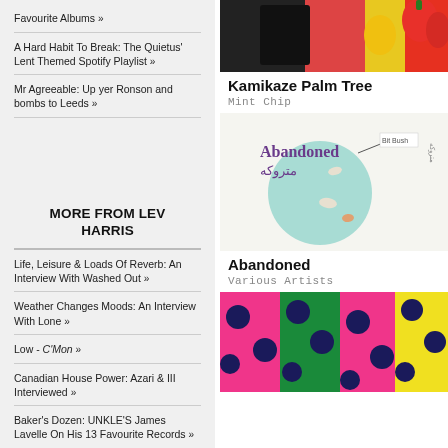Favourite Albums »
A Hard Habit To Break: The Quietus' Lent Themed Spotify Playlist »
Mr Agreeable: Up yer Ronson and bombs to Leeds »
MORE FROM LEV HARRIS
Life, Leisure & Loads Of Reverb: An Interview With Washed Out »
Weather Changes Moods: An Interview With Lone »
Low - C'Mon »
Canadian House Power: Azari & III Interviewed »
Baker's Dozen: UNKLE'S James Lavelle On His 13 Favourite Records »
[Figure (photo): Colorful album cover for Kamikaze Palm Tree - Mint Chip, showing green, yellow, red colors]
Kamikaze Palm Tree
Mint Chip
[Figure (photo): Album cover for Abandoned by Various Artists, showing white background with teal circle and small birds, Persian text]
Abandoned
Various Artists
[Figure (photo): Colorful album cover with polka dot pattern in pink, green, yellow with dark navy dots]